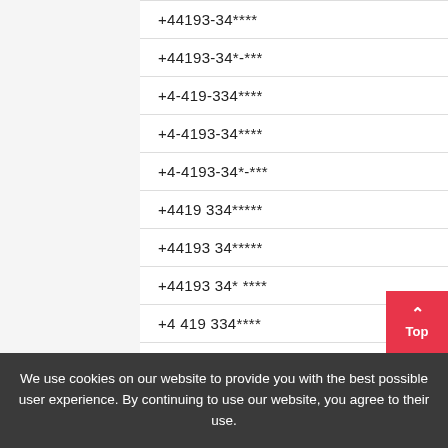| +44193-34**** |
| +44193-34*-*** |
| +4-419-334**** |
| +4-4193-34**** |
| +4-4193-34*-*** |
| +4419 334***** |
| +44193 34***** |
| +44193 34* **** |
| +4 419 334**** |
| +4 4193 34**** |
We use cookies on our website to provide you with the best possible user experience. By continuing to use our website, you agree to their use.